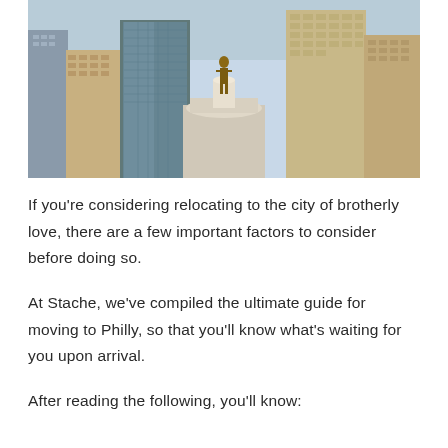[Figure (photo): Aerial photograph of Philadelphia skyline with a bronze statue (William Penn atop City Hall) in the foreground center, surrounded by modern skyscrapers and city buildings.]
If you're considering relocating to the city of brotherly love, there are a few important factors to consider before doing so.
At Stache, we've compiled the ultimate guide for moving to Philly, so that you'll know what's waiting for you upon arrival.
After reading the following, you'll know: